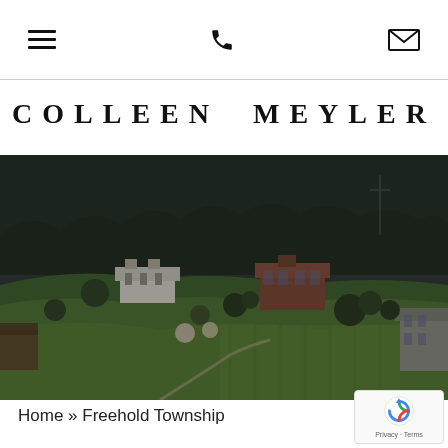[hamburger menu icon] [phone icon] [email icon]
COLLEEN MEYLER
[Figure (photo): Aerial drone photograph of a large estate with multiple historic buildings set among rolling green lawns and dense forest, taken in early spring with bare trees visible in the background. A large white manor house is visible on the left, a red-brick mansion in the center, and a grey stone house on the right edge of the frame.]
Home » Freehold Township